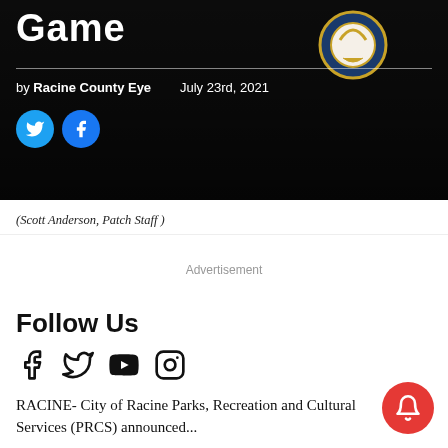Game
[Figure (photo): Dark background with a blue and gold emblem/badge, partial view of a sports or civic logo]
by Racine County Eye   July 23rd, 2021
(Scott Anderson, Patch Staff )
Advertisement
Follow Us
RACINE- City of Racine Parks, Recreation and Cultural Services (PRCS) announced...